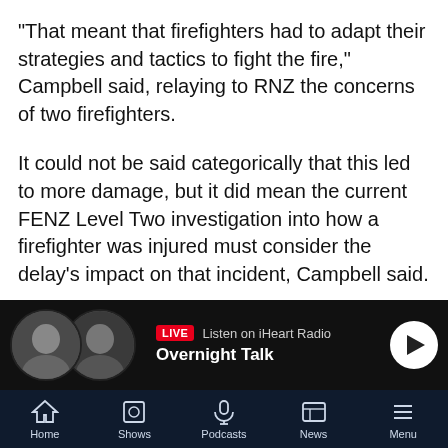"That meant that firefighters had to adapt their strategies and tactics to fight the fire," Campbell said, relaying to RNZ the concerns of two firefighters.
It could not be said categorically that this led to more damage, but it did mean the current FENZ Level Two investigation into how a firefighter was injured must consider the delay's impact on that incident, Campbell said.
"We just can't automatically rule it out just because it's inconvenient to Fire and Emergency."
FENZ said it had "no evidence to suggest there were any outstanding issues" at Takanini.
The aerial went out on the "first alarm, when an aerial is
[Figure (screenshot): Radio bar with two host avatars, LIVE badge, 'Listen on iHeart Radio' text, 'Overnight Talk' show title, and a white play button.]
Home   Shows   Podcasts   News   Menu